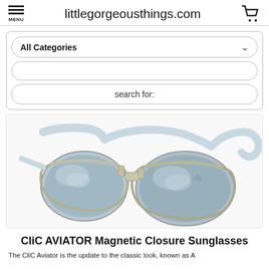littlegorgeousthings.com
[Figure (screenshot): Website search bar with All Categories dropdown and search for input]
[Figure (photo): CliC AVIATOR Magnetic Closure Sunglasses — silver aviator-style sunglasses with white magnetic closure band, shown split apart and together]
CliC AVIATOR Magnetic Closure Sunglasses
The CliC Aviator is the update to the classic look, known as A